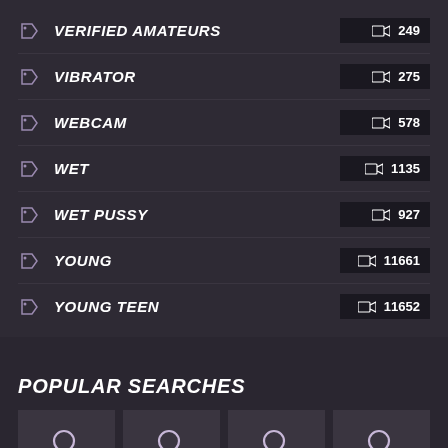VERIFIED AMATEURS 249
VIBRATOR 275
WEBCAM 578
WET 1135
WET PUSSY 927
YOUNG 11661
YOUNG TEEN 11652
POPULAR SEARCHES
KOREAN TEEN SQUIRT
KOREAN TEEN
OMEGLE TEEN
TEEN